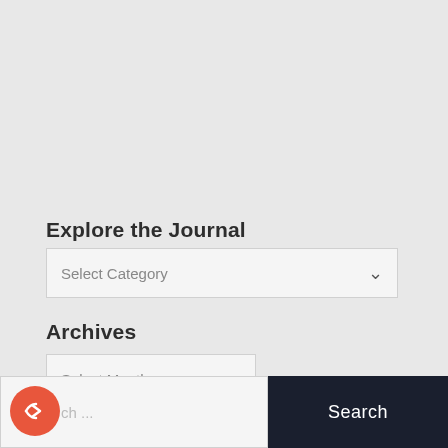Explore the Journal
[Figure (screenshot): Dropdown selector labeled 'Select Category' with a chevron/down arrow on the right side]
Archives
[Figure (screenshot): Dropdown selector labeled 'Select Month' with a chevron/down arrow on the right side]
[Figure (screenshot): Search bar with placeholder text 'ch ...' and a dark navy 'Search' button on the right, plus a red circular share/forward icon in the bottom left]
Search